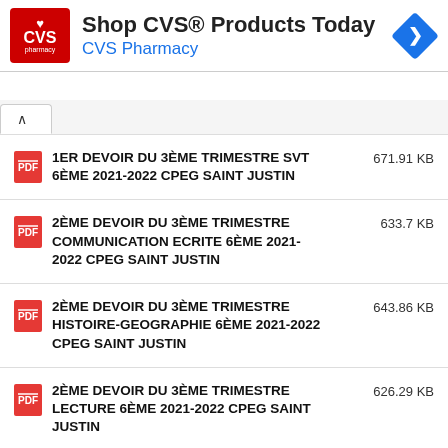[Figure (screenshot): CVS Pharmacy advertisement banner with red logo, bold text 'Shop CVS® Products Today', blue subtitle 'CVS Pharmacy', and blue diamond arrow icon]
1ER DEVOIR DU 3ÈME TRIMESTRE SVT 6ÈME 2021-2022 CPEG SAINT JUSTIN  671.91 KB
2ÈME DEVOIR DU 3ÈME TRIMESTRE COMMUNICATION ECRITE 6ÈME 2021-2022 CPEG SAINT JUSTIN  633.7 KB
2ÈME DEVOIR DU 3ÈME TRIMESTRE HISTOIRE-GEOGRAPHIE 6ÈME 2021-2022 CPEG SAINT JUSTIN  643.86 KB
2ÈME DEVOIR DU 3ÈME TRIMESTRE LECTURE 6ÈME 2021-2022 CPEG SAINT JUSTIN  626.29 KB